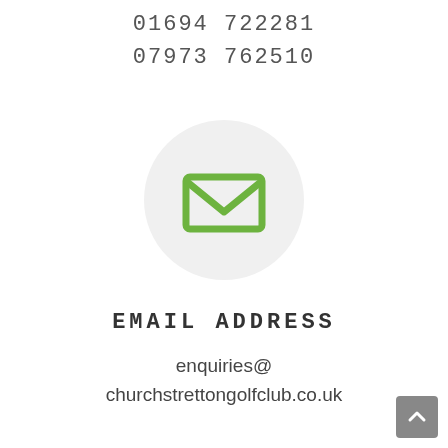01694 722281
07973 762510
[Figure (illustration): A light grey circle containing a green envelope/mail icon in the center]
EMAIL ADDRESS
enquiries@churchstrettongolfclub.co.uk